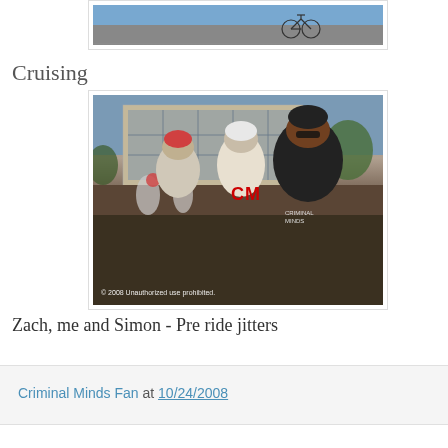[Figure (photo): Partial view of a cycling photo showing a bicycle, cropped at top of page]
Cruising
[Figure (photo): Three cyclists in helmets and cycling jerseys posing before a ride, with building in background. Watermark: © 2008 Unauthorized use prohibited.]
Zach, me and Simon - Pre ride jitters
Criminal Minds Fan at 10/24/2008